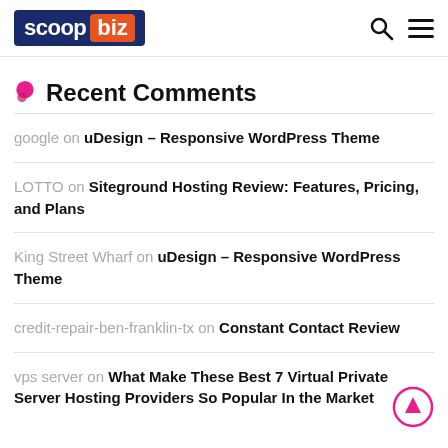scoop.biz
Recent Comments
google on uDesign – Responsive WordPress Theme
LOTTO on Siteground Hosting Review: Features, Pricing, and Plans
King Street Wharf on uDesign – Responsive WordPress Theme
credit-repair-ben-franklin-tx on Constant Contact Review
vps server on What Make These Best 7 Virtual Private Server Hosting Providers So Popular In the Market